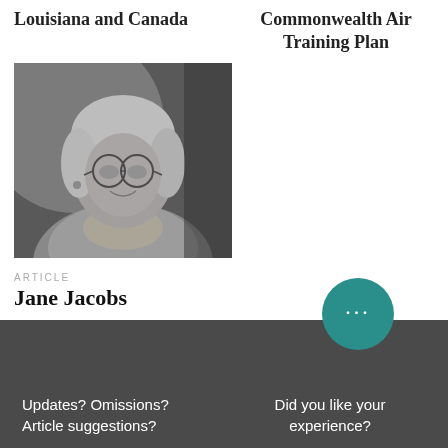Louisiana and Canada
Commonwealth Air Training Plan
[Figure (photo): Black and white portrait photograph of an elderly woman with white hair and glasses, smiling, wearing a light-colored blouse]
ARTICLE
Jane Jacobs
Updates? Omissions? Article suggestions?
Did you like your experience?